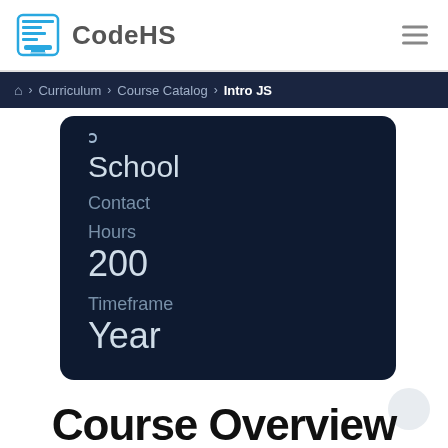CodeHS
Home > Curriculum > Course Catalog > Intro JS
School
Contact Hours
200
Timeframe
Year
Course Overview